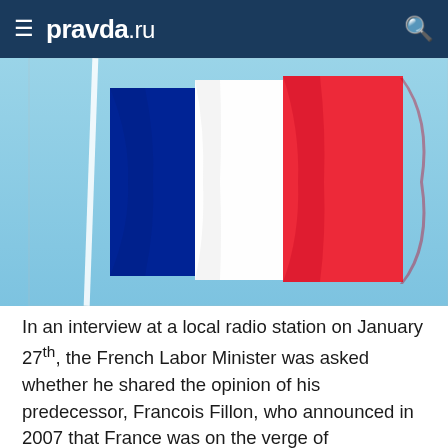≡ pravda.ru
[Figure (photo): French tricolor flag waving against a light blue sky background]
In an interview at a local radio station on January 27th, the French Labor Minister was asked whether he shared the opinion of his predecessor, Francois Fillon, who announced in 2007 that France was on the verge of bankruptcy. "There is a state but it is a totally bankrupt state," Mr Sapin said. "That is why